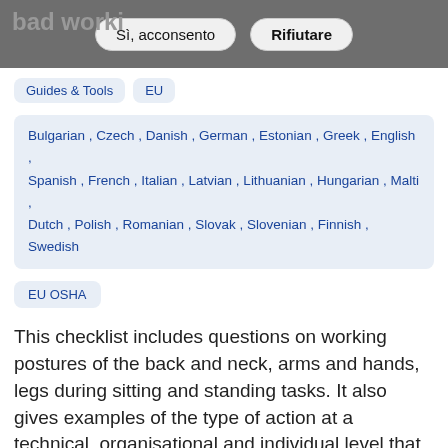[Figure (screenshot): Cookie consent overlay bar with 'Sì, acconsento' and 'Rifiutare' buttons on a dark background, partially covering a page title about bad working conditions]
Guides & Tools   EU
Bulgarian , Czech , Danish , German , Estonian , Greek , English , Spanish , French , Italian , Latvian , Lithuanian , Hungarian , Malti , Dutch , Polish , Romanian , Slovak , Slovenian , Finnish , Swedish
EU OSHA
This checklist includes questions on working postures of the back and neck, arms and hands, legs during sitting and standing tasks. It also gives examples of the type of action at a technical, organisational and individual level that can be put in place to prevent or reduce the risks caused by...
Vedi altro →
E-fact 38 - Work equipment, tools